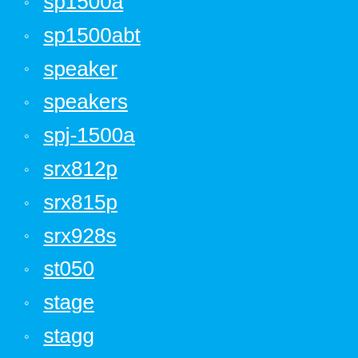sp1500a
sp1500abt
speaker
speakers
spj-1500a
srx812p
srx815p
srx928s
st050
stage
stagg
studio
studiomaster
sub15a
sub18a
sub7054s